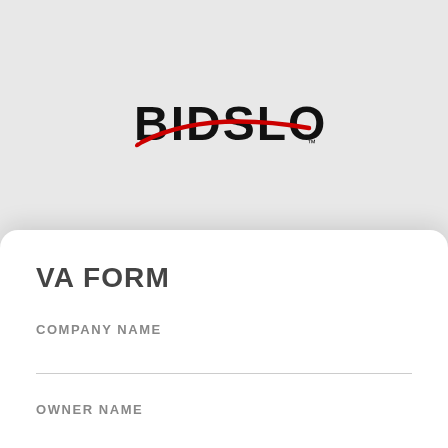[Figure (logo): BIDSLOT logo in bold black text with a red swoosh/arc across it and small trademark symbol]
VA FORM
COMPANY NAME
OWNER NAME